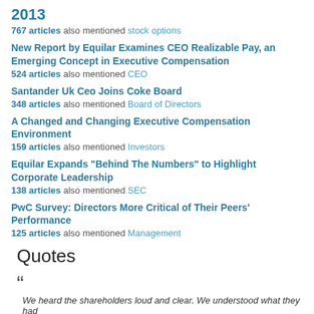2013
767 articles also mentioned stock options
New Report by Equilar Examines CEO Realizable Pay, an Emerging Concept in Executive Compensation
524 articles also mentioned CEO
Santander Uk Ceo Joins Coke Board
348 articles also mentioned Board of Directors
A Changed and Changing Executive Compensation Environment
159 articles also mentioned Investors
Equilar Expands "Behind The Numbers" to Highlight Corporate Leadership
138 articles also mentioned SEC
PwC Survey: Directors More Critical of Their Peers' Performance
125 articles also mentioned Management
Quotes
"We heard the shareholders loud and clear. We understood what they had